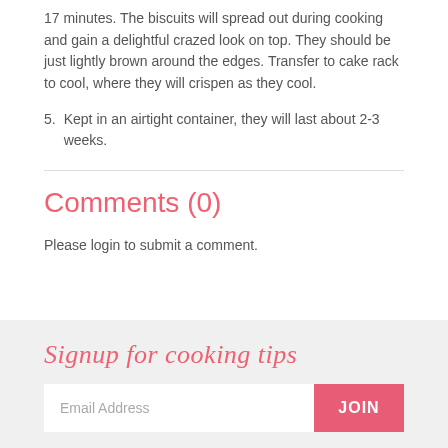17 minutes. The biscuits will spread out during cooking and gain a delightful crazed look on top. They should be just lightly brown around the edges. Transfer to cake rack to cool, where they will crispen as they cool.
5. Kept in an airtight container, they will last about 2-3 weeks.
Comments (0)
Please login to submit a comment.
Signup for cooking tips
Email Address
JOIN